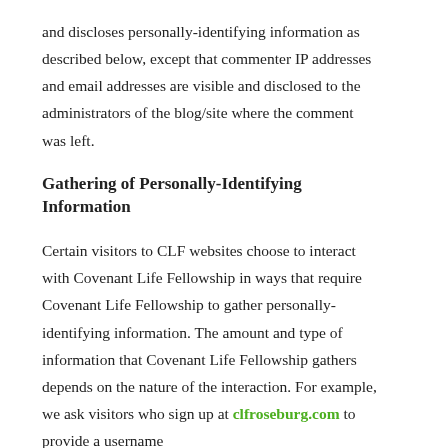and discloses personally-identifying information as described below, except that commenter IP addresses and email addresses are visible and disclosed to the administrators of the blog/site where the comment was left.
Gathering of Personally-Identifying Information
Certain visitors to CLF websites choose to interact with Covenant Life Fellowship in ways that require Covenant Life Fellowship to gather personally-identifying information. The amount and type of information that Covenant Life Fellowship gathers depends on the nature of the interaction. For example, we ask visitors who sign up at clfroseburg.com to provide a username